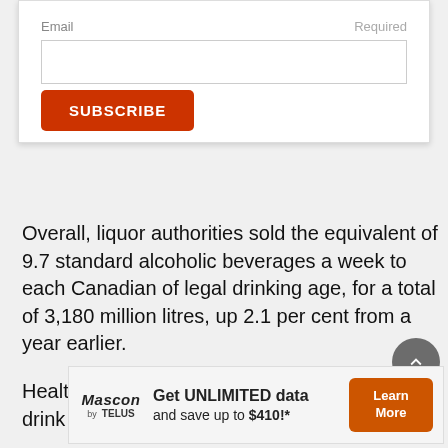Email                                                Required
SUBSCRIBE
Overall, liquor authorities sold the equivalent of 9.7 standard alcoholic beverages a week to each Canadian of legal drinking age, for a total of 3,180 million litres, up 2.1 per cent from a year earlier.
Health Canada guidelines define a standard drink as a 341
[Figure (screenshot): Advertisement banner: Mascon by TELUS logo on left, text 'Get UNLIMITED data and save up to $410!*' in center, orange 'Learn More' button on right]